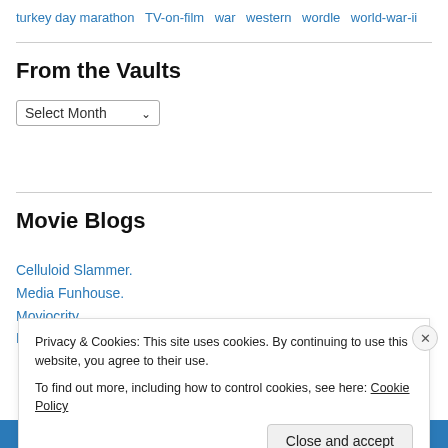turkey day marathon  TV-on-film  war  western  wordle  world-war-ii
From the Vaults
Select Month
Movie Blogs
Celluloid Slammer.
Media Funhouse.
Moviocrity.
Popcorn Mafia.
Privacy & Cookies: This site uses cookies. By continuing to use this website, you agree to their use.
To find out more, including how to control cookies, see here: Cookie Policy
Close and accept